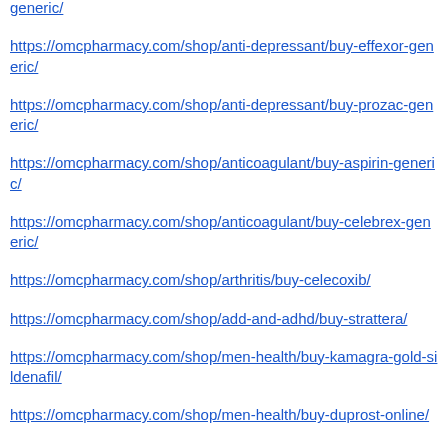https://omcpharmacy.com/shop/anti-depressant/buy-effexor-generic/
https://omcpharmacy.com/shop/anti-depressant/buy-prozac-generic/
https://omcpharmacy.com/shop/anticoagulant/buy-aspirin-generic/
https://omcpharmacy.com/shop/anticoagulant/buy-celebrex-generic/
https://omcpharmacy.com/shop/arthritis/buy-celecoxib/
https://omcpharmacy.com/shop/add-and-adhd/buy-strattera/
https://omcpharmacy.com/shop/men-health/buy-kamagra-gold-sildenafil/
https://omcpharmacy.com/shop/men-health/buy-duprost-online/
https://omcpharmacy.com/shop/xanax/buy-xanax-online/